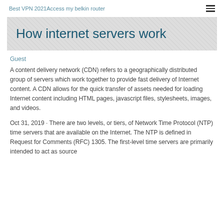Best VPN 2021Access my belkin router
How internet servers work
Guest
A content delivery network (CDN) refers to a geographically distributed group of servers which work together to provide fast delivery of Internet content. A CDN allows for the quick transfer of assets needed for loading Internet content including HTML pages, javascript files, stylesheets, images, and videos.
Oct 31, 2019 · There are two levels, or tiers, of Network Time Protocol (NTP) time servers that are available on the Internet. The NTP is defined in Request for Comments (RFC) 1305. The first-level time servers are primarily intended to act as source